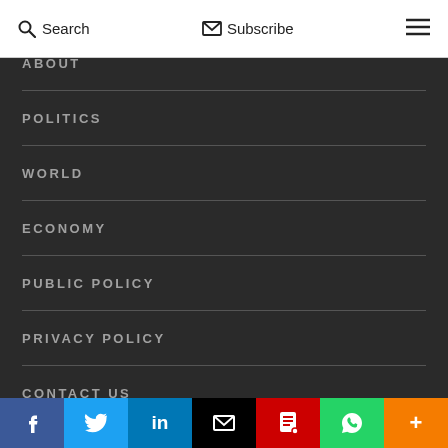Search   Subscribe   ☰
ABOUT
POLITICS
WORLD
ECONOMY
PUBLIC POLICY
PRIVACY POLICY
CONTACT US
[Figure (infographic): Social sharing bar with icons: Facebook, Twitter, LinkedIn, Email, PDF/Document, WhatsApp, More (+)]